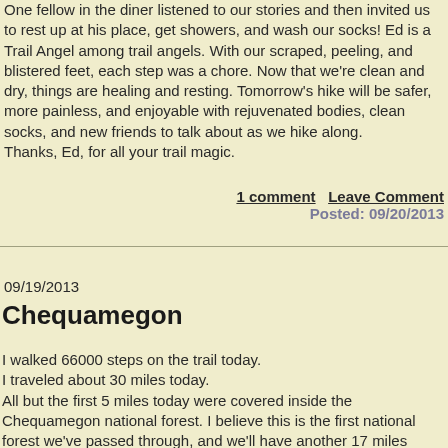One fellow in the diner listened to our stories and then invited us to rest up at his place, get showers, and wash our socks! Ed is a Trail Angel among trail angels. With our scraped, peeling, and blistered feet, each step was a chore. Now that we're clean and dry, things are healing and resting. Tomorrow's hike will be safer, more painless, and enjoyable with rejuvenated bodies, clean socks, and new friends to talk about as we hike along.
Thanks, Ed, for all your trail magic.
1 comment    Leave Comment
Posted: 09/20/2013
09/19/2013
Chequamegon
I walked 66000 steps on the trail today.
I traveled about 30 miles today.
All but the first 5 miles today were covered inside the Chequamegon national forest. I believe this is the first national forest we've passed through, and we'll have another 17 miles tomorrow before we emerge.
The name is pronounced she-WAM-a-gun (wam from